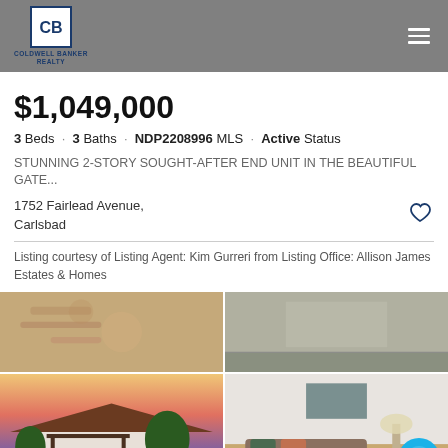Coldwell Banker Realty
$1,049,000
3 Beds · 3 Baths · NDP2208996 MLS · Active Status
STUNNING 2-STORY SOUGHT-AFTER END UNIT IN THE BEAUTIFUL GATE...
1752 Fairlead Avenue,
Carlsbad
Listing courtesy of Listing Agent: Kim Gurreri from Listing Office: Allison James Estates & Homes
[Figure (photo): Four property photos: decorative detail close-up, concrete driveway, house exterior at sunset with pergola, and interior living room]
[Figure (other): Chat button icon]